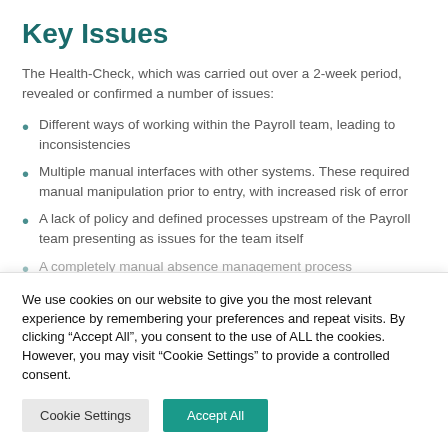Key Issues
The Health-Check, which was carried out over a 2-week period, revealed or confirmed a number of issues:
Different ways of working within the Payroll team, leading to inconsistencies
Multiple manual interfaces with other systems. These required manual manipulation prior to entry, with increased risk of error
A lack of policy and defined processes upstream of the Payroll team presenting as issues for the team itself
A completely manual absence management process
We use cookies on our website to give you the most relevant experience by remembering your preferences and repeat visits. By clicking "Accept All", you consent to the use of ALL the cookies. However, you may visit "Cookie Settings" to provide a controlled consent.